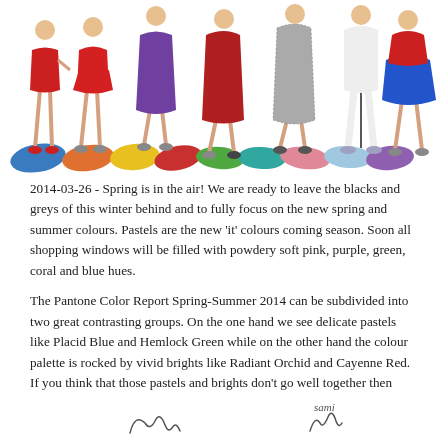[Figure (illustration): Fashion illustration showing several women in colorful spring/summer dresses and outfits, standing above a row of painted color swatches in blue, orange, yellow, red, green, teal, pink, and purple.]
2014-03-26 - Spring is in the air! We are ready to leave the blacks and greys of this winter behind and to fully focus on the new spring and summer colours. Pastels are the new 'it' colours coming season. Soon all shopping windows will be filled with powdery soft pink, purple, green, coral and blue hues.
The Pantone Color Report Spring-Summer 2014 can be subdivided into two great contrasting groups. On the one hand we see delicate pastels like Placid Blue and Hemlock Green while on the other hand the colour palette is rocked by vivid brights like Radiant Orchid and Cayenne Red. If you think that those pastels and brights don't go well together then think again! This season is all about a harmonious and charming fusion of the two.
[Figure (illustration): Handwritten signature area at the bottom of the page with two signatures.]